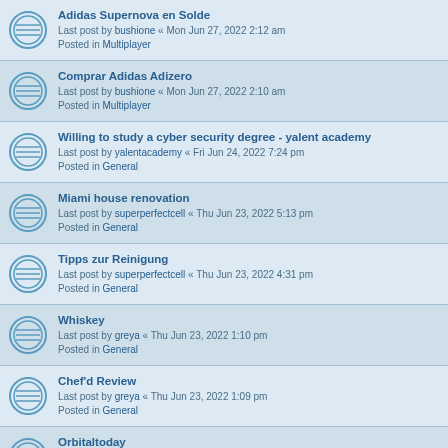Adidas Supernova en Solde
Last post by bushione « Mon Jun 27, 2022 2:12 am
Posted in Multiplayer
Comprar Adidas Adizero
Last post by bushione « Mon Jun 27, 2022 2:10 am
Posted in Multiplayer
Willing to study a cyber security degree - yalent academy
Last post by yalentacademy « Fri Jun 24, 2022 7:24 pm
Posted in General
Miami house renovation
Last post by superperfectcell « Thu Jun 23, 2022 5:13 pm
Posted in General
Tipps zur Reinigung
Last post by superperfectcell « Thu Jun 23, 2022 4:31 pm
Posted in General
Whiskey
Last post by greya « Thu Jun 23, 2022 1:10 pm
Posted in General
Chef'd Review
Last post by greya « Thu Jun 23, 2022 1:09 pm
Posted in General
Orbitaltoday
Last post by William E. Babin « Wed Jun 22, 2022 8:43 pm
Posted in General
Trusted car navigation system company- android navigation
Last post by Android Navigation « Tue Jun 21, 2022 8:42 pm